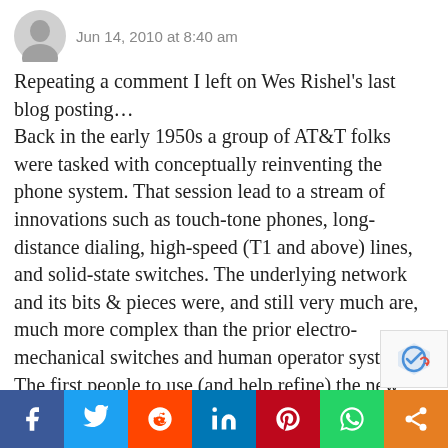Jun 14, 2010 at 8:40 am
Repeating a comment I left on Wes Rishel’s last blog posting…
Back in the early 1950s a group of AT&T folks were tasked with conceptually reinventing the phone system. That session lead to a stream of innovations such as touch-tone phones, long-distance dialing, high-speed (T1 and above) lines, and solid-state switches. The underlying network and its bits & pieces were, and still very much are, much more complex than the prior electro-mechanical switches and human operator system.
The first people to use (and help refine) the new systems were the human telephone operators who were trained and observed. We also saw the